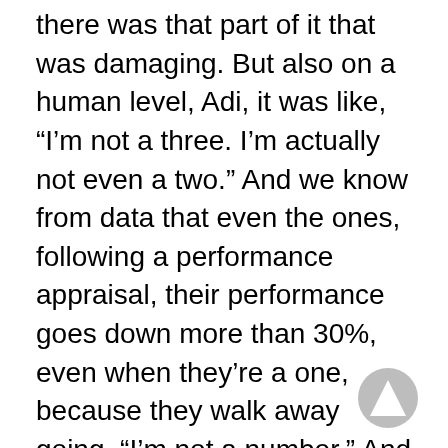there was that part of it that was damaging. But also on a human level, Adi, it was like, “I’m not a three. I’m actually not even a two.” And we know from data that even the ones, following a performance appraisal, their performance goes down more than 30%, even when they’re a one, because they walk away going, “I’m not a number.” And the problem with all this is that we’ve kluged together performance measurement with performance development. Performance measurement, if you want to do it once a year so that you can hand out variable comp, okay. I don’t think you need a rating number to decide who gets the 2% versus the 4%. You could just go straight to the 2% and the 4%. But if you want to do that once a year because that’s the cadence of the way that